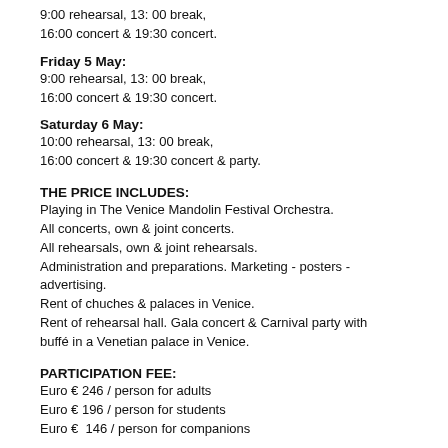9:00 rehearsal, 13: 00 break, 16:00 concert & 19:30 concert.
Friday 5 May:
9:00 rehearsal, 13: 00 break, 16:00 concert & 19:30 concert.
Saturday 6 May:
10:00 rehearsal, 13: 00 break, 16:00 concert & 19:30 concert & party.
THE PRICE INCLUDES:
Playing in The Venice Mandolin Festival Orchestra.
All concerts, own & joint concerts.
All rehearsals, own & joint rehearsals.
Administration and preparations. Marketing - posters - advertising.
Rent of chuches & palaces in Venice.
Rent of rehearsal hall. Gala concert & Carnival party with buffé in a Venetian palace in Venice.
PARTICIPATION FEE:
Euro € 246 / person for adults
Euro € 196 / person for students
Euro €  146 / person for companions